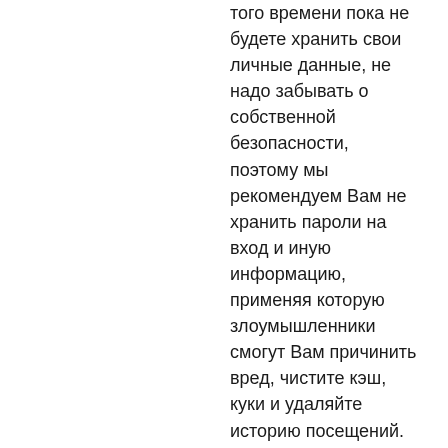того времени пока не будете хранить свои личные данные, не надо забывать о собственной безопасности, поэтому мы рекомендуем Вам не хранить пароли на вход и иную информацию, применяя которую злоумышленники смогут Вам причинить вред, чистите кэш, куки и удаляйте историю посещений.
Reply
[Figure (illustration): Generic user avatar - grey silhouette of a person on light grey background]
гидра сайт в тор браузере •
Your comment is awaiting moderation.